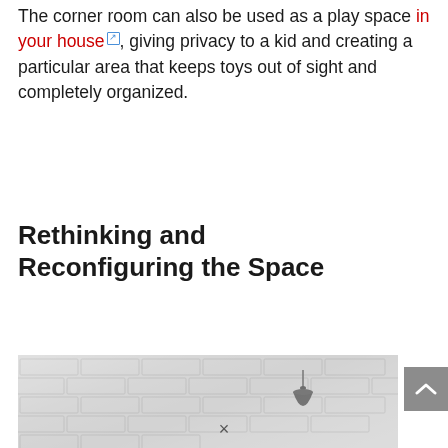The corner room can also be used as a play space in your house, giving privacy to a kid and creating a particular area that keeps toys out of sight and completely organized.
Rethinking and Reconfiguring the Space
[Figure (photo): Partial photo of a white brick wall interior with a black dome pendant lamp visible on the right side]